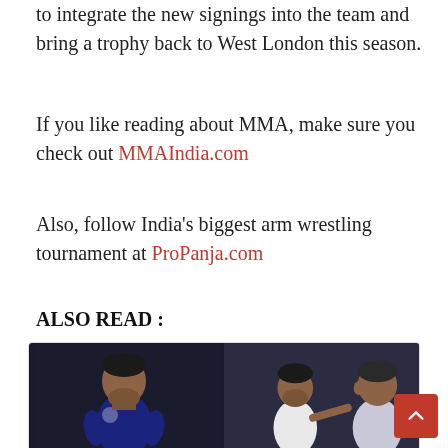to integrate the new signings into the team and bring a trophy back to West London this season.
If you like reading about MMA, make sure you check out MMAIndia.com
Also, follow India's biggest arm wrestling tournament at ProPanja.com
ALSO READ :
[Figure (photo): Two side-by-side photos of soccer players; left shows a player in a dark PSG jersey looking down, right shows two players facing each other in conversation.]